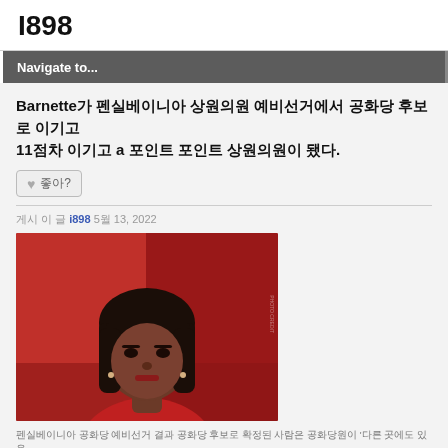I898
Navigate to...
Barnette가 펜실베이니아 상원의원 예비선거에서 공화당 후보로 11점 差로 이기고 a 포인트 포인트 상원의원이 됐다.
♥ 좋아?
게시 이 글 i898 5월 13, 2022
[Figure (photo): Woman with short dark hair and bangs wearing a red outfit, photographed against a red background]
펜실베이니아 공화당 예비선거 결과 공화당 후보로 확정된 사람은 공화당원이 '다른 곳에도 있음...